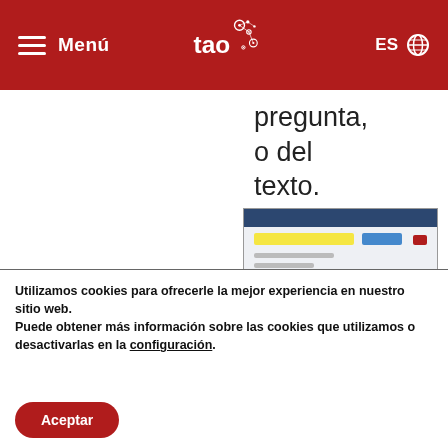Menú | tao (logo) | ES
pregunta, o del texto.
[Figure (screenshot): Screenshot of the TAO Text-to-Speech interface showing a highlighted text area with yellow and blue highlighted words and a small control panel.]
Text-to-Speech
Utilizamos cookies para ofrecerle la mejor experiencia en nuestro sitio web.
Puede obtener más información sobre las cookies que utilizamos o desactivarlas en la configuración.
Aceptar